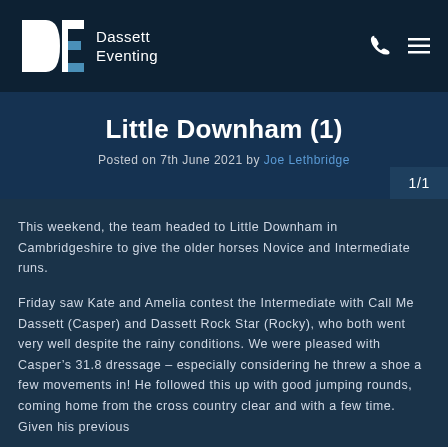Dassett Eventing
Little Downham (1)
Posted on 7th June 2021 by Joe Lethbridge
1/1
This weekend, the team headed to Little Downham in Cambridgeshire to give the older horses Novice and Intermediate runs.
Friday saw Kate and Amelia contest the Intermediate with Call Me Dassett (Casper) and Dassett Rock Star (Rocky), who both went very well despite the rainy conditions. We were pleased with Casper’s 31.8 dressage – especially considering he threw a shoe a few movements in! He followed this up with good jumping rounds, coming home from the cross country clear and with a few time. Given his previous experience it felt unnecessary to run him fast across country, but it